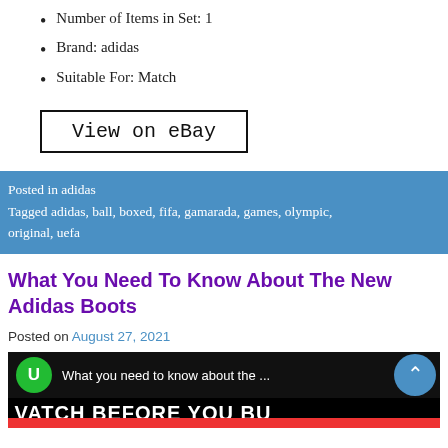Number of Items in Set: 1
Brand: adidas
Suitable For: Match
View on eBay
Posted in adidas
Tagged adidas, ball, boxed, fifa, gamarada, games, olympic, original, uefa
What You Need To Know About The New Adidas Boots
Posted on August 27, 2021
[Figure (screenshot): Video thumbnail with green logo circle, white text 'What you need to know about the ...', blue circle button with up chevron, and bold white text 'WATCH BEFORE YOU BU' on black background]